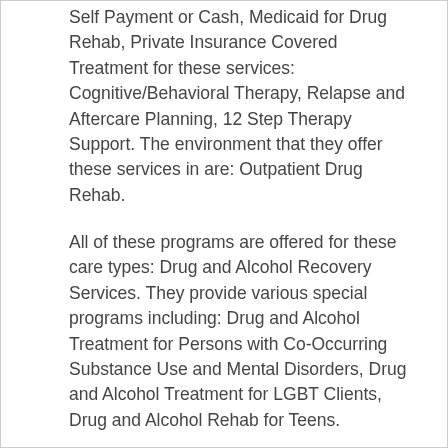Self Payment or Cash, Medicaid for Drug Rehab, Private Insurance Covered Treatment for these services: Cognitive/Behavioral Therapy, Relapse and Aftercare Planning, 12 Step Therapy Support. The environment that they offer these services in are: Outpatient Drug Rehab.
All of these programs are offered for these care types: Drug and Alcohol Recovery Services. They provide various special programs including: Drug and Alcohol Treatment for Persons with Co-Occurring Substance Use and Mental Disorders, Drug and Alcohol Treatment for LGBT Clients, Drug and Alcohol Rehab for Teens.